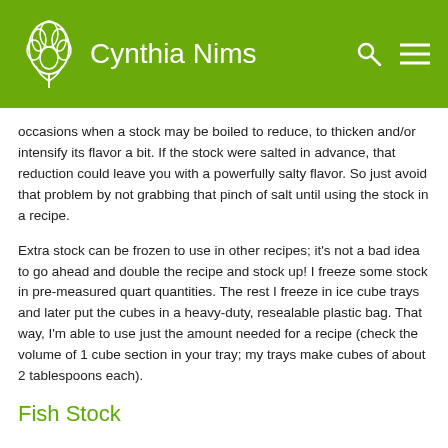Cynthia Nims
occasions when a stock may be boiled to reduce, to thicken and/or intensify its flavor a bit. If the stock were salted in advance, that reduction could leave you with a powerfully salty flavor. So just avoid that problem by not grabbing that pinch of salt until using the stock in a recipe.
Extra stock can be frozen to use in other recipes; it’s not a bad idea to go ahead and double the recipe and stock up! I freeze some stock in pre-measured quart quantities. The rest I freeze in ice cube trays and later put the cubes in a heavy-duty, resealable plastic bag. That way, I’m able to use just the amount needed for a recipe (check the volume of 1 cube section in your tray; my trays make cubes of about 2 tablespoons each).
Fish Stock